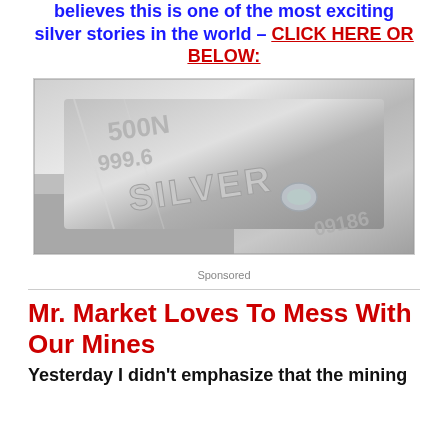believes this is one of the most exciting silver stories in the world – CLICK HERE OR BELOW:
[Figure (photo): Close-up photograph of silver bars stamped with '500N 999.6 SILVER' and serial number 09186]
Sponsored
Mr. Market Loves To Mess With Our Mines
Yesterday I didn't emphasize that the mining